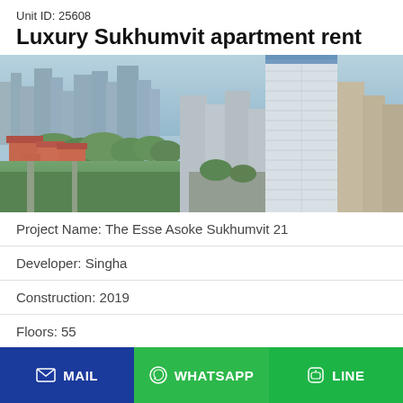Unit ID: 25608
Luxury Sukhumvit apartment rent
[Figure (photo): Aerial photograph of Bangkok skyline showing the Sukhumvit area with high-rise buildings, green parks, and urban development. Prominent white skyscraper visible on the right side.]
| Project Name: The Esse Asoke Sukhumvit 21 |
| Developer: Singha |
| Construction: 2019 |
| Floors: 55 |
| Buildings: 1 |
| Units: 419 |
MAIL   WHATSAPP   LINE